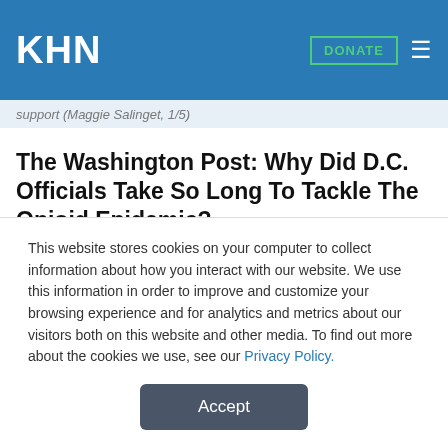KHN | DONATE
support (Maggie Salinget, 1/5)
The Washington Post: Why Did D.C. Officials Take So Long To Tackle The Opioid Epidemic?
The recent announcement by D.C. officials of a plan of action to tackle the District's opioid epidemic prompts two questions. What took them so long? And, what are the chances for success given the city's sorry performance to date in responding to this public-health crisis? Mayor Muriel E. Bowser (D) in December released a 22-page report that maps out the creation or
This website stores cookies on your computer to collect information about how you interact with our website. We use this information in order to improve and customize your browsing experience and for analytics and metrics about our visitors both on this website and other media. To find out more about the cookies we use, see our Privacy Policy.